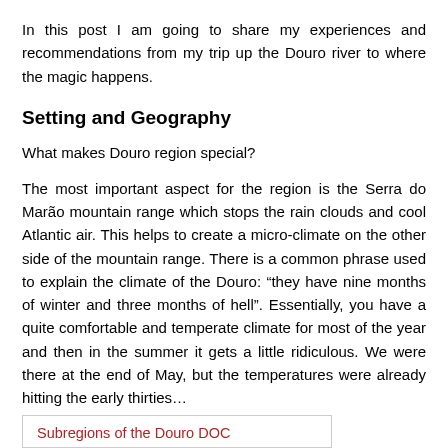In this post I am going to share my experiences and recommendations from my trip up the Douro river to where the magic happens.
Setting and Geography
What makes Douro region special?
The most important aspect for the region is the Serra do Marão mountain range which stops the rain clouds and cool Atlantic air. This helps to create a micro-climate on the other side of the mountain range. There is a common phrase used to explain the climate of the Douro: “they have nine months of winter and three months of hell”. Essentially, you have a quite comfortable and temperate climate for most of the year and then in the summer it gets a little ridiculous. We were there at the end of May, but the temperatures were already hitting the early thirties…
Subregions of the Douro DOC